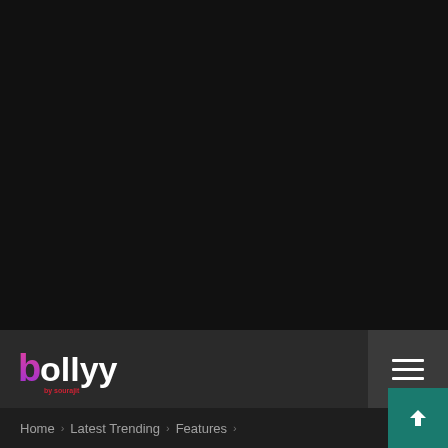[Figure (screenshot): Dark black background area occupying the upper portion of the page]
bollyy by sourajit — navigation bar with hamburger menu
Home > Latest Trending > Features >
[Figure (other): Teal scroll-to-top button with upward arrow in bottom right corner]